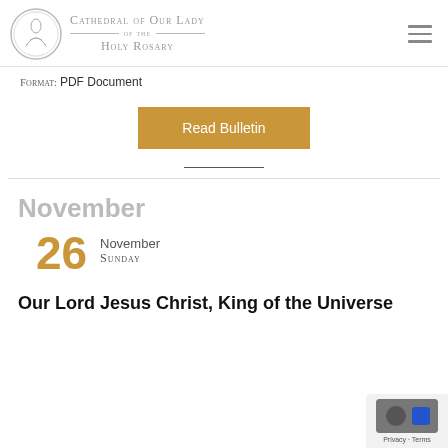Cathedral of Our Lady of the Holy Rosary
Format: PDF Document
Read Bulletin
November
26 November Sunday
Our Lord Jesus Christ, King of the Universe